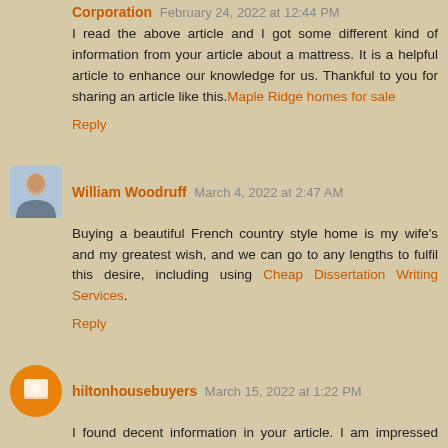Corporation February 24, 2022 at 12:44 PM
I read the above article and I got some different kind of information from your article about a mattress. It is a helpful article to enhance our knowledge for us. Thankful to you for sharing an article like this. Maple Ridge homes for sale
Reply
William Woodruff March 4, 2022 at 2:47 AM
Buying a beautiful French country style home is my wife's and my greatest wish, and we can go to any lengths to fulfil this desire, including using Cheap Dissertation Writing Services.
Reply
hiltonhousebuyers March 15, 2022 at 1:22 PM
I found decent information in your article. I am impressed with how nicely you described this subject, It is a gainful article for us. Quick House Sale Thanks for share it.